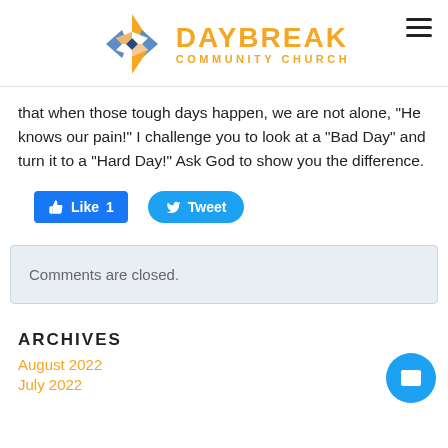[Figure (logo): Daybreak Community Church logo with geometric diamond/star shape in orange and blue, and orange text reading DAYBREAK COMMUNITY CHURCH]
that when those tough days happen, we are not alone, "He knows our pain!" I challenge you to look at a "Bad Day" and turn it to a "Hard Day!" Ask God to show you the difference.
[Figure (other): Facebook Like button showing Like 1, and Twitter Tweet button]
Comments are closed.
ARCHIVES
August 2022
July 2022